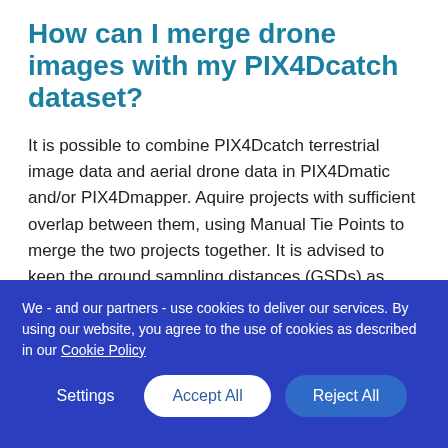How can I merge drone images with my PIX4Dcatch dataset?
It is possible to combine PIX4Dcatch terrestrial image data and aerial drone data in PIX4Dmatic and/or PIX4Dmapper. Aquire projects with sufficient overlap between them, using Manual Tie Points to merge the two projects together. It is advised to keep the ground sampling distances (GSDs) as close as possible. Wide variations between GSDs can hinder projects from
We - and our partners - use cookies to deliver our services. By using our website, you agree to the use of cookies as described in our Cookie Policy